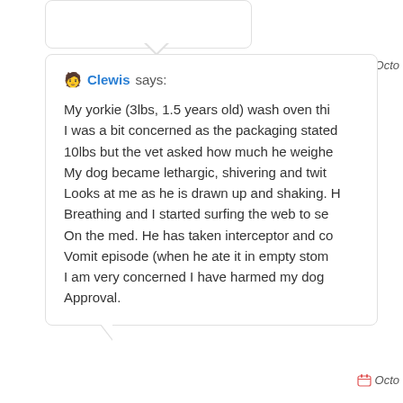Octo
Clewis says:
My yorkie (3lbs, 1.5 years old) wash oven thi... I was a bit concerned as the packaging stated 10lbs but the vet asked how much he weighed. My dog became lethargic, shivering and twit... Looks at me as he is drawn up and shaking. H... Breathing and I started surfing the web to se... On the med. He has taken interceptor and co... Vomit episode (when he ate it in empty stom... I am very concerned I have harmed my dog... Approval.
Octo